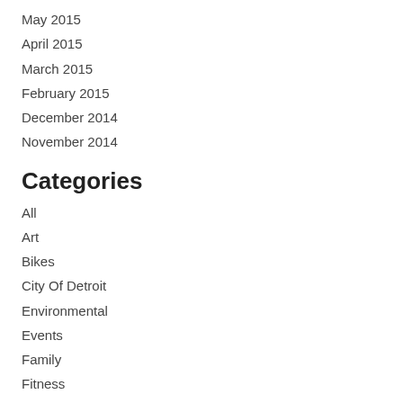May 2015
April 2015
March 2015
February 2015
December 2014
November 2014
Categories
All
Art
Bikes
City Of Detroit
Environmental
Events
Family
Fitness
Fundraising
Garden
History
Kids
Little Free Library